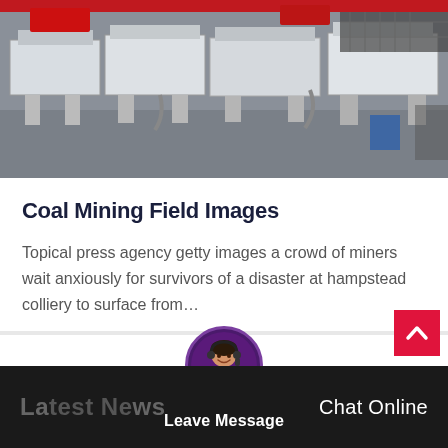[Figure (photo): Industrial mining/vibrating screen machinery in a factory floor setting. White metal frame equipment arranged in rows on a grey floor. Red mechanical components visible at top.]
Coal Mining Field Images
Topical press agency getty images a crowd of miners wait anxiously for survivors of a disaster at hampstead colliery to surface from…
Leave Message  Chat Online